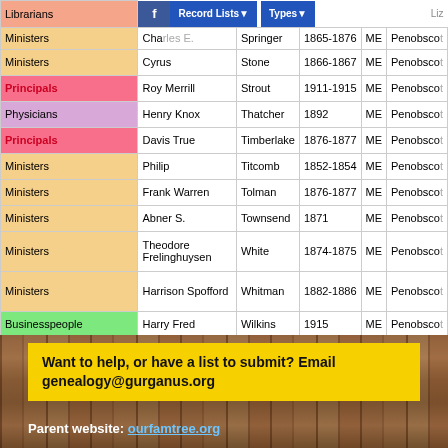| Category | First Name | Last Name | Years | State | County |
| --- | --- | --- | --- | --- | --- |
| Librarians | Liz... |  |  |  |  |
| Ministers | Charles L. | Springer | 1865-1876 | ME | Penobscot |
| Ministers | Cyrus | Stone | 1866-1867 | ME | Penobscot |
| Principals | Roy Merrill | Strout | 1911-1915 | ME | Penobscot |
| Physicians | Henry Knox | Thatcher | 1892 | ME | Penobscot |
| Principals | Davis True | Timberlake | 1876-1877 | ME | Penobscot |
| Ministers | Philip | Titcomb | 1852-1854 | ME | Penobscot |
| Ministers | Frank Warren | Tolman | 1876-1877 | ME | Penobscot |
| Ministers | Abner S. | Townsend | 1871 | ME | Penobscot |
| Ministers | Theodore Frelinghuysen | White | 1874-1875 | ME | Penobscot |
| Ministers | Harrison Spofford | Whitman | 1882-1886 | ME | Penobscot |
| Businesspeople | Harry Fred | Wilkins | 1915 | ME | Penobscot |
| Physicians | John Butler | Wilson | 1865-1866 | ME | Penobscot |
| Architects | Roger James | Wilson | 1915 | ME | Penobscot |
| Ministers | Henry Barnes | Woods | 1902-1906 | ME | Penobscot |
Want to help, or have a list to submit? Email genealogy@gurganus.org
Parent website: ourfamtree.org